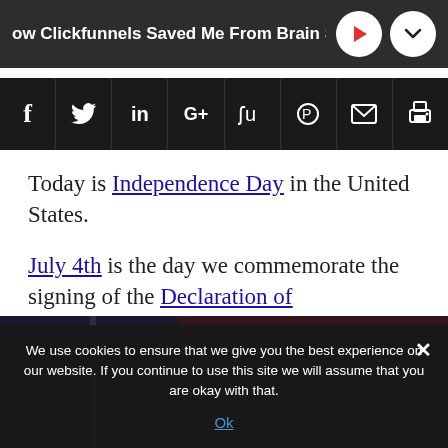ow Clickfunnels Saved Me From Brain Surger
[Figure (infographic): Social share icon bar with Facebook, Twitter, LinkedIn, Google+, StumbleUpon, Pinterest, Email, and Print icons on dark background]
Today is Independence Day in the United States.
July 4th is the day we commemorate the signing of the Declaration of Independence.
[Figure (photo): American flag in dark/night setting, partially visible]
We use cookies to ensure that we give you the best experience on our website. If you continue to use this site we will assume that you are okay with that.